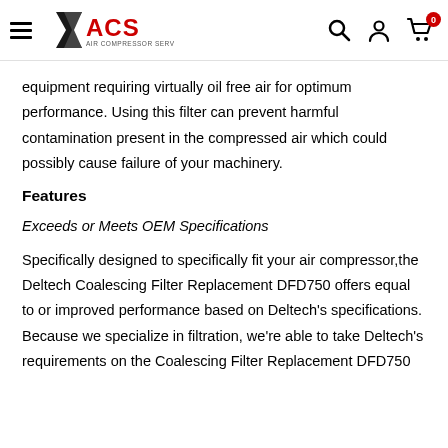ACS Air Compressor Services — navigation header with search, account, and cart icons
equipment requiring virtually oil free air for optimum performance. Using this filter can prevent harmful contamination present in the compressed air which could possibly cause failure of your machinery.
Features
Exceeds or Meets OEM Specifications
Specifically designed to specifically fit your air compressor,the Deltech Coalescing Filter Replacement DFD750 offers equal to or improved performance based on Deltech's specifications. Because we specialize in filtration, we're able to take Deltech's requirements on the Coalescing Filter Replacement DFD750